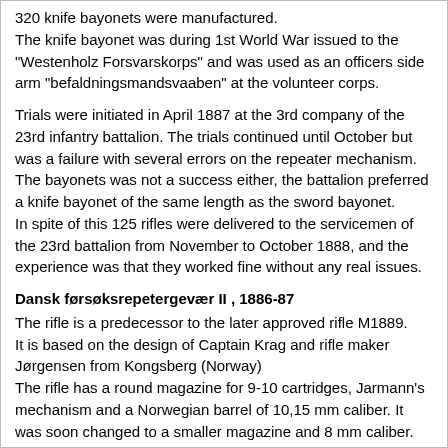320 knife bayonets were manufactured.
The knife bayonet was during 1st World War issued to the "Westenholz Forsvarskorps" and was used as an officers side arm "befaldningsmandsvaaben" at the volunteer corps.
Trials were initiated in April 1887 at the 3rd company of the 23rd infantry battalion. The trials continued until October but was a failure with several errors on the repeater mechanism. The bayonets was not a success either, the battalion preferred a knife bayonet of the same length as the sword bayonet.
In spite of this 125 rifles were delivered to the servicemen of the 23rd battalion from November to October 1888, and the experience was that they worked fine without any real issues.
Dansk førsøksrepetergevær II , 1886-87
The rifle is a predecessor to the later approved rifle M1889.
It is based on the design of Captain Krag and rifle maker Jørgensen from Kongsberg (Norway)
The rifle has a round magazine for 9-10 cartridges, Jarmann's mechanism and a Norwegian barrel of 10,15 mm caliber. It was soon changed to a smaller magazine and 8 mm caliber.
The trials that started in August 1887 with 6 rifles at the 23rd battalion was successful, and further trials were recommended. 50 more rifles were ordered from Kongsberg rifle factory for delivery in January. The rifle was called the "Dansk førsøksrepetergevær II".
The same trial bayonets that were used for "Dansk førsøksrepetergevær I" was used for this rifle.